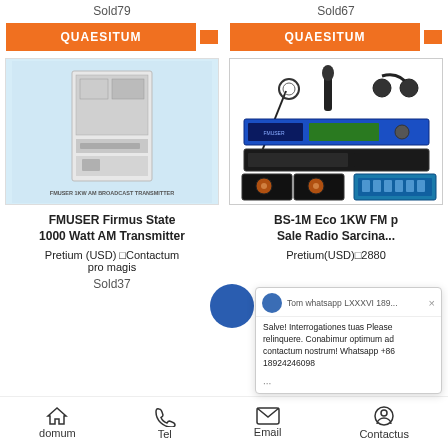Sold79
Sold67
QUAESITUM
QUAESITUM
[Figure (photo): FMUSER 1KW AM Broadcast Transmitter - large white rack-mounted unit]
[Figure (photo): BS-1M Eco 1KW FM radio station bundle including microphone, headphones, FM transmitter rack unit, processor, speakers and mixer]
FMUSER Firmus State 1000 Watt AM Transmitter
BS-1M Eco 1KW FM p... Sale Radio Sarcina...
Pretium (USD) □Contactum pro magis
Pretium(USD)□2880
Sold37
Tom whatsapp LXXXVI 189...
Salve! Interrogationes tuas Please relinquere. Conabimur optimum ad contactum nostrum! Whatsapp +86 18924246098
...
domum   Tel   Email   Contactus